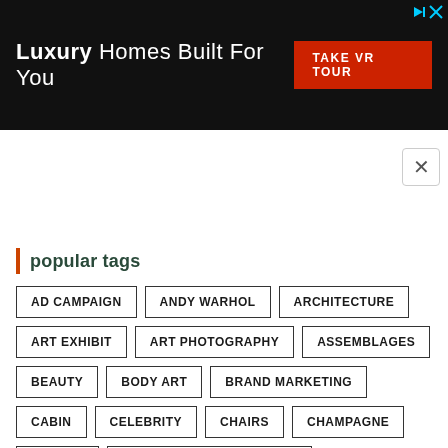[Figure (advertisement): Black banner ad: 'Luxury Homes Built For You' with red 'TAKE VR TOUR' button]
×
popular tags
AD CAMPAIGN
ANDY WARHOL
ARCHITECTURE
ART EXHIBIT
ART PHOTOGRAPHY
ASSEMBLAGES
BEAUTY
BODY ART
BRAND MARKETING
CABIN
CELEBRITY
CHAIRS
CHAMPAGNE
CHANEL
CONCRETE ARCHITECTURE